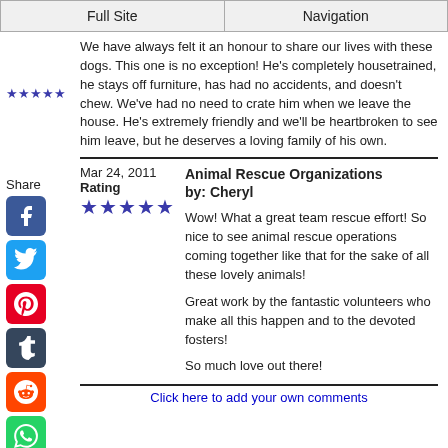Full Site | Navigation
We have always felt it an honour to share our lives with these dogs. This one is no exception! He's completely housetrained, he stays off furniture, has had no accidents, and doesn't chew. We've had no need to crate him when we leave the house. He's extremely friendly and we'll be heartbroken to see him leave, but he deserves a loving family of his own.
Share
Mar 24, 2011
Rating
★★★★★
Animal Rescue Organizations by: Cheryl
Wow! What a great team rescue effort! So nice to see animal rescue operations coming together like that for the sake of all these lovely animals!

Great work by the fantastic volunteers who make all this happen and to the devoted fosters!

So much love out there!
Click here to add your own comments